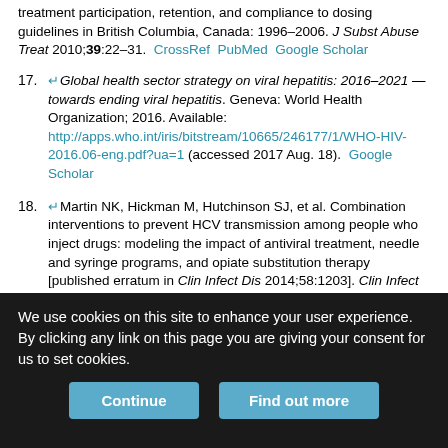treatment participation, retention, and compliance to dosing guidelines in British Columbia, Canada: 1996–2006. J Subst Abuse Treat 2010;39:22–31. CrossRef PubMed Google Scholar
17. Global health sector strategy on viral hepatitis: 2016–2021 — towards ending viral hepatitis. Geneva: World Health Organization; 2016. Available: http://apps.who.int/iris/bitstream/10665/246177/1/WHO-HIV-2016.06-eng.pdf?ua=1 (accessed 2017 Aug. 18). Google Scholar
18. Martin NK, Hickman M, Hutchinson SJ, et al. Combination interventions to prevent HCV transmission among people who inject drugs: modeling the impact of antiviral treatment, needle and syringe programs, and opiate substitution therapy [published erratum in Clin Infect Dis 2014;58:1203]. Clin Infect Dis 2013;57(Suppl 2):S39–45. CrossRef PubMed Google Scholar
19. Bruneau J, Zang G, Abrahamowicz M, et al. Sustained drug use…
We use cookies on this site to enhance your user experience. By clicking any link on this page you are giving your consent for us to set cookies.